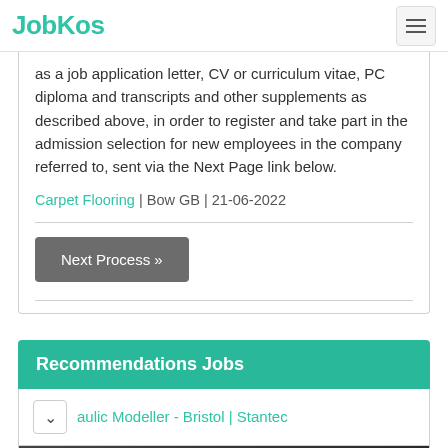JobKos
as a job application letter, CV or curriculum vitae, PC diploma and transcripts and other supplements as described above, in order to register and take part in the admission selection for new employees in the company referred to, sent via the Next Page link below.
Carpet Flooring | Bow GB | 21-06-2022
Next Process »
Recommendations Jobs
aulic Modeller - Bristol | Stantec
[Figure (screenshot): Advertisement banner showing 'Download Helbiz and ride' text over a dark background with what appears to be a scooter/vehicle image.]